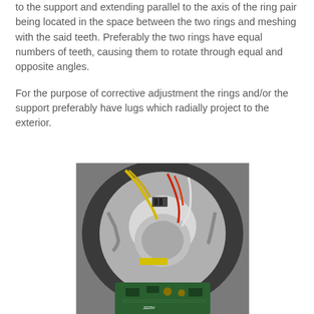to the support and extending parallel to the axis of the ring pair being located in the space between the two rings and meshing with the said teeth. Preferably the two rings have equal numbers of teeth, causing them to rotate through equal and opposite angles.
For the purpose of corrective adjustment the rings and/or the support preferably have lugs which radially project to the exterior.
[Figure (photo): Photograph showing the internal mechanism of a device, viewed from above. Visible components include a circular housing with wiring (yellow, red, white wires), a white plastic assembly in the center, a circular rotor or disc, and a green circuit board (PCB) at the bottom with electronic components.]